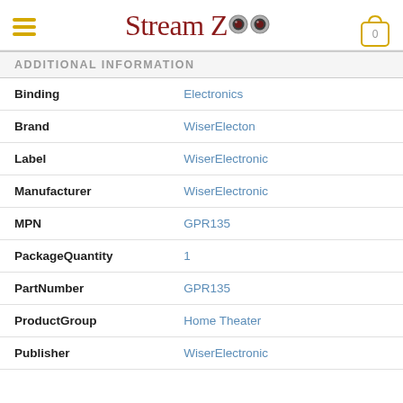Stream Zoo
ADDITIONAL INFORMATION
|  |  |
| --- | --- |
| Binding | Electronics |
| Brand | WiserElecton |
| Label | WiserElectronic |
| Manufacturer | WiserElectronic |
| MPN | GPR135 |
| PackageQuantity | 1 |
| PartNumber | GPR135 |
| ProductGroup | Home Theater |
| Publisher | WiserElectronic |